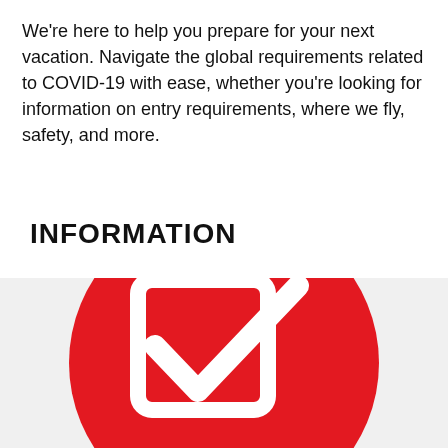We're here to help you prepare for your next vacation. Navigate the global requirements related to COVID-19 with ease, whether you're looking for information on entry requirements, where we fly, safety, and more.
INFORMATION
[Figure (illustration): Red circle containing a white checkbox icon with a checkmark, on a light grey background]